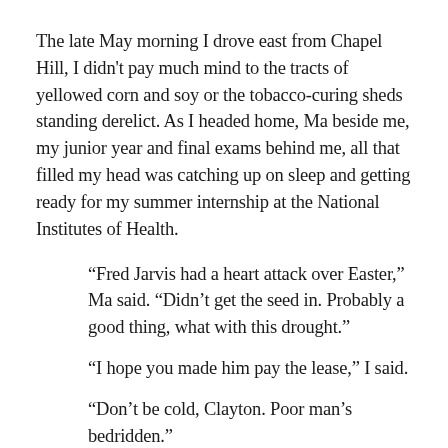The late May morning I drove east from Chapel Hill, I didn't pay much mind to the tracts of yellowed corn and soy or the tobacco-curing sheds standing derelict. As I headed home, Ma beside me, my junior year and final exams behind me, all that filled my head was catching up on sleep and getting ready for my summer internship at the National Institutes of Health.
“Fred Jarvis had a heart attack over Easter,” Ma said. “Didn’t get the seed in. Probably a good thing, what with this drought.”
“I hope you made him pay the lease,” I said.
“Don’t be cold, Clayton. Poor man’s bedridden.”